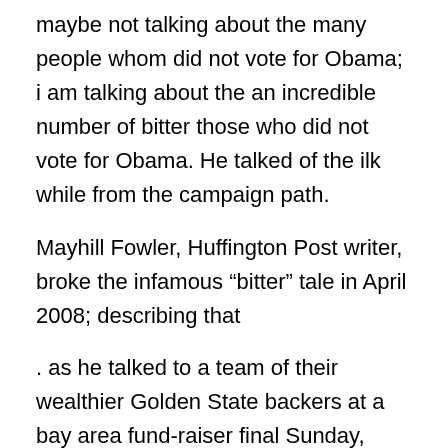maybe not talking about the many people whom did not vote for Obama; i am talking about the an incredible number of bitter those who did not vote for Obama. He talked of the ilk while from the campaign path.
Mayhill Fowler, Huffington Post writer, broke the infamous “bitter” tale in April 2008; describing that
. as he talked to a team of their wealthier Golden State backers at a bay area fund-raiser final Sunday, Barack Obama took a